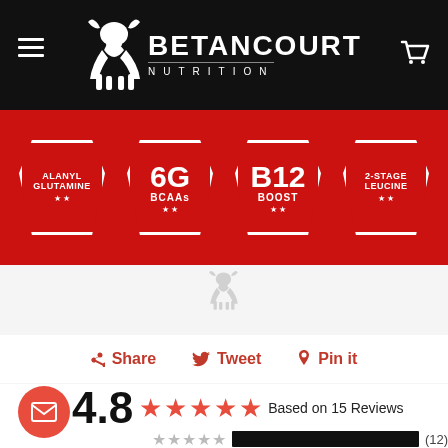[Figure (logo): Betancourt Nutrition logo with bull graphic and brand name on black header]
[Figure (infographic): Red product badge banner showing: ALANYL GLUTAMINE, 6G BCAAs, B12 BOOST, 2-STAGE LEUCINE on red hexagonal badges]
[Figure (illustration): Small Betancourt bull watermark/logo in light gray on white product background]
Share  Tweet  Pin it
4.8 ★★★★★ Based on 15 Reviews
★★★★☆  ████████████  (12)